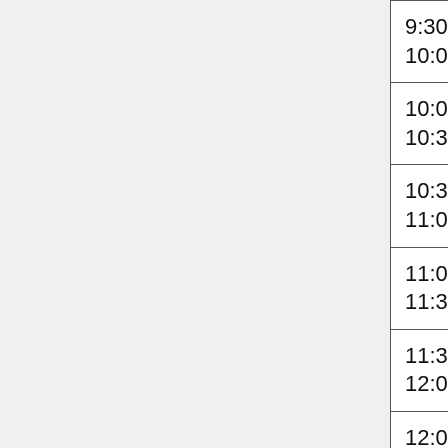| Time | Person | Location |
| --- | --- | --- |
| 9:30-10:00 | Sarah Hird | TLS 409 |
| 10:00-10:30 | Bernard Goffinet | Biopharm 300 |
| 10:30-11:00 | David Wagner | TLS 471 |
| 11:00-11:30 | Sarah Knutie | TLS383 |
| 11:30-12:00 | Jon Klassen |  |
| 12:00-1:00 | Lunch with grad students | Bamford, TLS 171 |
| 1:00-1:30 | Elizabeth Jockusch | BioPharm 305b |
| ... |  |  |